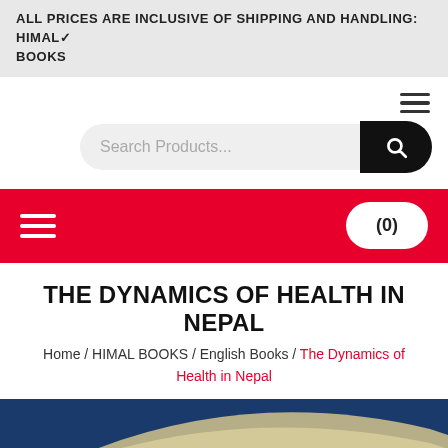ALL PRICES ARE INCLUSIVE OF SHIPPING AND HANDLING:  HIMAL BOOKS
[Figure (screenshot): Search bar with text 'Search Products...' and a black search button on the right, with a hamburger menu icon in the top right corner]
[Figure (screenshot): Red navigation bar with white hamburger menu icon on the left and a white rounded cart button showing (0) on the right]
THE DYNAMICS OF HEALTH IN NEPAL
Home / HIMAL BOOKS / English Books / The Dynamics of Health in Nepal
[Figure (photo): Partial view of a book cover with dark blue and beige/cream curved design elements]